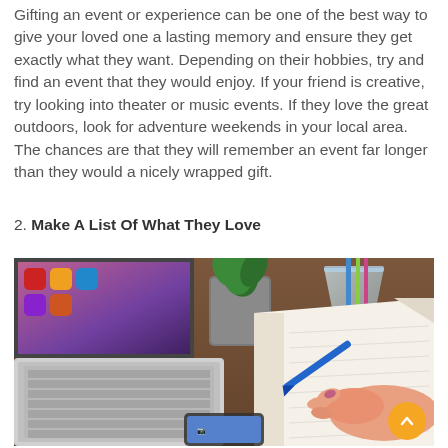Gifting an event or experience can be one of the best way to give your loved one a lasting memory and ensure they get exactly what they want. Depending on their hobbies, try and find an event that they would enjoy. If your friend is creative, try looking into theater or music events. If they love the great outdoors, look for adventure weekends in your local area. The chances are that they will remember an event far longer than they would a nicely wrapped gift.
2. Make A List Of What They Love
[Figure (photo): A desk scene showing a laptop, a potted plant, a glass, a notebook, and a hand writing with a blue pen. A smartphone is visible at the bottom.]